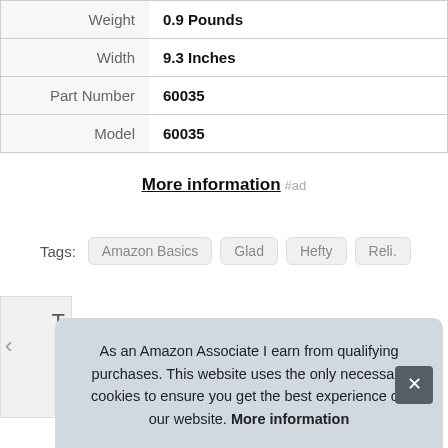| Weight | 0.9 Pounds |
| Width | 9.3 Inches |
| Part Number | 60035 |
| Model | 60035 |
More information #ad
Tags: Amazon Basics  Glad  Hefty  Reli.
As an Amazon Associate I earn from qualifying purchases. This website uses the only necessary cookies to ensure you get the best experience on our website. More information